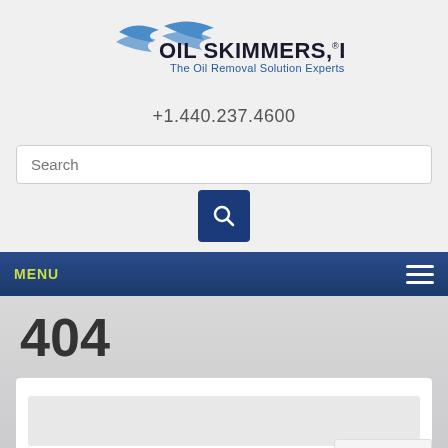[Figure (logo): Oil Skimmers, Inc. logo with two blue swooping bird silhouettes and text 'OIL SKIMMERS, INC. The Oil Removal Solution Experts']
+1.440.237.4600
[Figure (screenshot): Search input field with placeholder text 'Search' and a dark blue search button with magnifying glass icon]
MENU
404
[Figure (screenshot): White card content area with inner grey panel, partially visible content below]
Back to Top